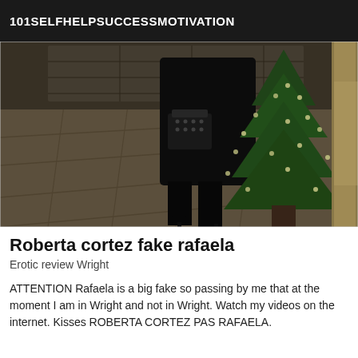101SELFHELPSUCCESSMOTIVATION
[Figure (photo): A person dressed in black clothing and high-heeled boots walking on a stone-tiled floor, photographed from behind. A decorated Christmas tree with lights is visible on the right side. The image is dark and taken at night.]
Roberta cortez fake rafaela
Erotic review Wright
ATTENTION Rafaela is a big fake so passing by me that at the moment I am in Wright and not in Wright. Watch my videos on the internet. Kisses ROBERTA CORTEZ PAS RAFAELA.